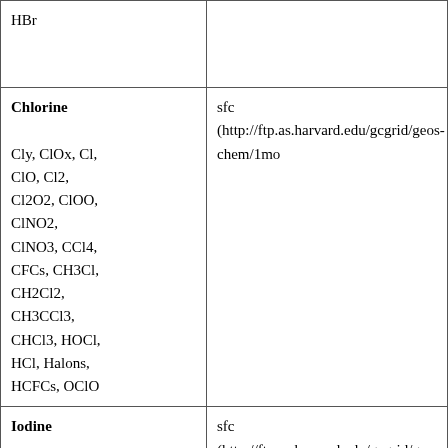| HBr |  |
| Chlorine

Cly, ClOx, Cl, ClO, Cl2, Cl2O2, ClOO, ClNO2, ClNO3, CCl4, CFCs, CH3Cl, CH2Cl2, CH3CCl3, CHCl3, HOCl, HCl, Halons, HCFCs, OClO | sfc (http://ftp.as.harvard.edu/gcgrid/geos-chem/1mo... |
| Iodine

Iy, IxOy, I, I2, IBr, ICl, IO, IONO, IONO2, CH3I, CH2I2, | sfc (http://ftp.as.harvard.edu/gcgrid/geos-chem/1mo... |